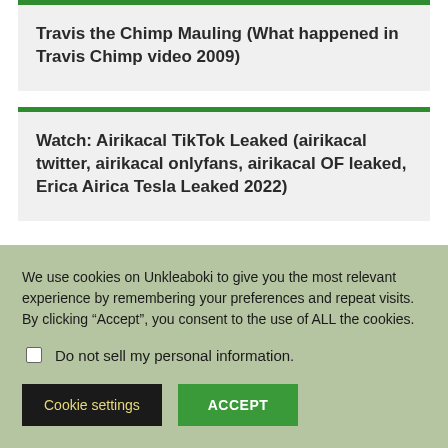Travis the Chimp Mauling (What happened in Travis Chimp video 2009)
Watch: Airikacal TikTok Leaked (airikacal twitter, airikacal onlyfans, airikacal OF leaked, Erica Airica Tesla Leaked 2022)
We use cookies on Unkleaboki to give you the most relevant experience by remembering your preferences and repeat visits. By clicking “Accept”, you consent to the use of ALL the cookies.
Do not sell my personal information.
Cookie settings
ACCEPT